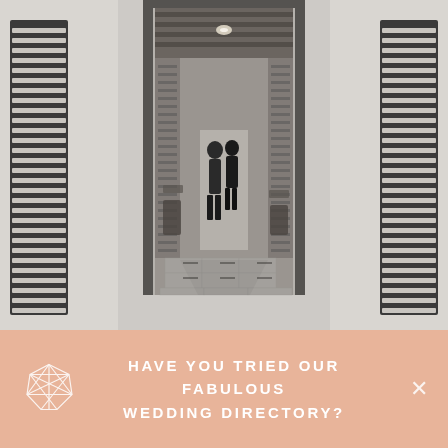[Figure (photo): Black and white photograph of an architectural interior: a long corridor/hallway viewed through a doorway, with wooden ceiling beams, lattice-style room dividers on both sides, and two people standing in the distance. The foreground shows white walls with vertical slatted/louvered panels on either side.]
HAVE YOU TRIED OUR FABULOUS WEDDING DIRECTORY?